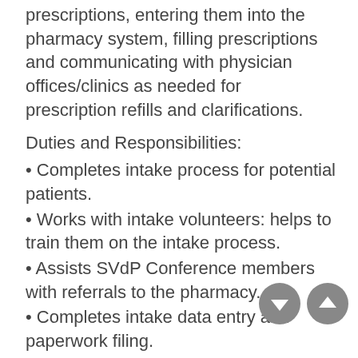prescriptions, entering them into the pharmacy system, filling prescriptions and communicating with physician offices/clinics as needed for prescription refills and clarifications.
Duties and Responsibilities:
• Completes intake process for potential patients.
• Works with intake volunteers: helps to train them on the intake process.
• Assists SVdP Conference members with referrals to the pharmacy.
• Completes intake data entry and paperwork filing.
• Refers patients to other potential services that may be available to them (both within the Society and other area agencies).
• Responsible for proper communication and documentation of clarification requests and